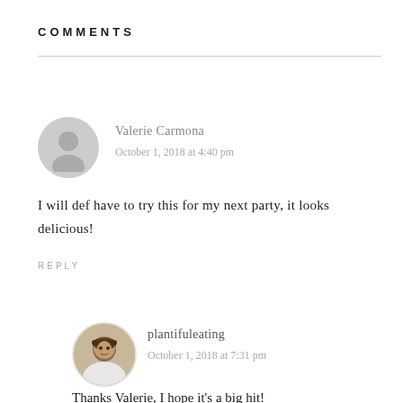COMMENTS
Valerie Carmona
October 1, 2018 at 4:40 pm
I will def have to try this for my next party, it looks delicious!
REPLY
plantifuleating
October 1, 2018 at 7:31 pm
Thanks Valerie, I hope it's a big hit!